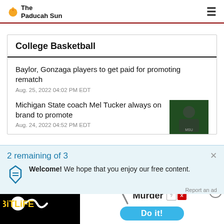The Paducah Sun
College Basketball
Baylor, Gonzaga players to get paid for promoting rematch
Aug. 25, 2022 04:02 PM EDT
Michigan State coach Mel Tucker always on brand to promote
Aug. 24, 2022 04:52 PM EDT
2 remaining of 3
Welcome! We hope that you enjoy our free content.
[Figure (screenshot): BitLife advertisement banner with 'Murder Do it!' text]